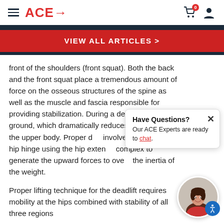ACE→
VIEW ALL ARTICLES >
front of the shoulders (front squat). Both the back and the front squat place a tremendous amount of force on the osseous structures of the spine as well as the muscle and fascia responsible for providing stabilization. During a deadlift, the weight is on the ground, which dramatically reduces the compressive stress on the upper body. Proper deadlift technique involves performing a hip hinge using the hip extensor complex to generate the upward forces to overcome the inertia of the weight.
Proper lifting technique for the deadlift requires mobility at the hips combined with stability of all three regions